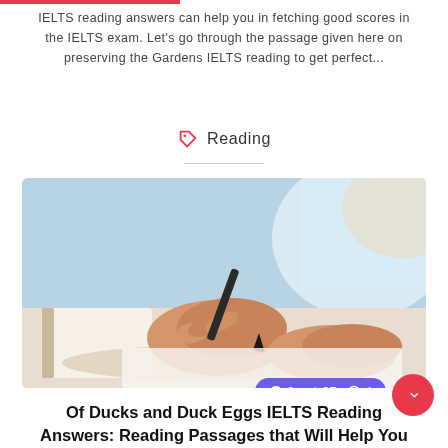IELTS reading answers can help you in fetching good scores in the IELTS exam. Let's go through the passage given here on preserving the Gardens IELTS reading to get perfect...
Reading
[Figure (photo): A person's hands writing with a pen on paper, with a blurred book in the foreground and a bright background. A purple pill-shaped badge shows: 0 comments, 97 likes, 4 minutes read.]
Of Ducks and Duck Eggs IELTS Reading Answers: Reading Passages that Will Help You